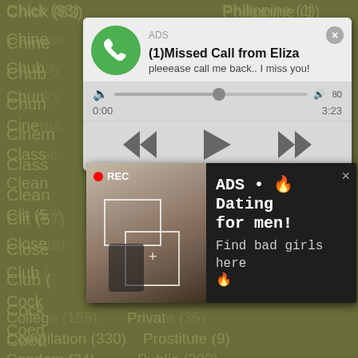Chick (83)
Philippine (1)
Chine...
Chub...
Chun...
Cinem...
Class...
Clean...
Clit (57)
Plumper (19)
Close...
Club...
Cock...
Coed...
Collar...
College (155)
Private (35)
Compilation (330)
Prostitute (9)
Condom (24)
Public (289)
Cop (24)
Pump (18)
Corset (0)
Punished (10)
[Figure (screenshot): Audio player advertisement popup showing missed call from Eliza with phone icon, progress bar, and playback controls]
[Figure (screenshot): Dating advertisement popup with REC indicator over a selfie photo and text 'ADS • Dating for men! Find bad girls here']